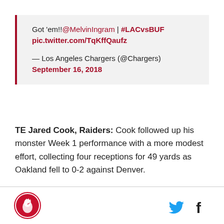Got 'em!!@MelvinIngram | #LACvsBUF pic.twitter.com/TqKffQaufz
— Los Angeles Chargers (@Chargers) September 16, 2018
TE Jared Cook, Raiders: Cook followed up his monster Week 1 performance with a more modest effort, collecting four receptions for 49 yards as Oakland fell to 0-2 against Denver.
[Figure (logo): SB Nation logo — circular red logo with rooster/bird icon]
[Figure (logo): Twitter bird icon in blue]
[Figure (logo): Facebook f icon in dark]